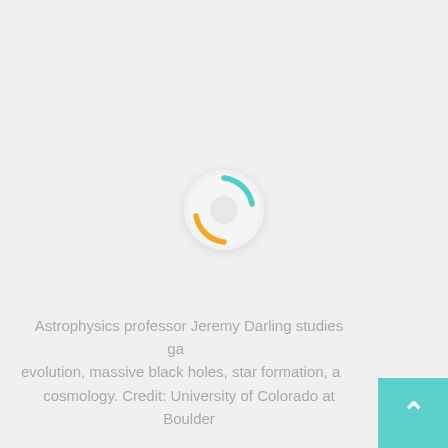[Figure (other): A loading spinner graphic centered on a light gray background. The spinner shows two arc segments — one teal/cyan arc at the top-right and one orange/amber arc at the bottom-left — around a small light gray circle in the center, all on a white rounded background circle with a subtle shadow.]
Astrophysics professor Jeremy Darling studies galaxy evolution, massive black holes, star formation, and cosmology. Credit: University of Colorado at Boulder